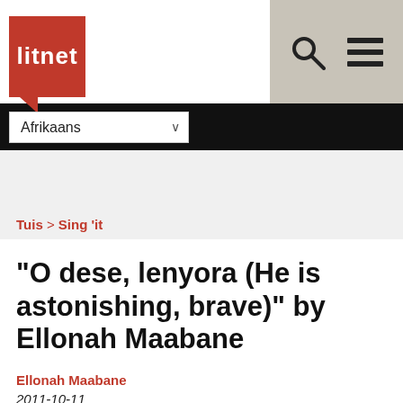[Figure (logo): Litnet logo - red square with white 'litnet' text]
Afrikaans
Tuis > Sing 'it
"O dese, lenyora (He is astonishing, brave)" by Ellonah Maabane
Ellonah Maabane
2011-10-11